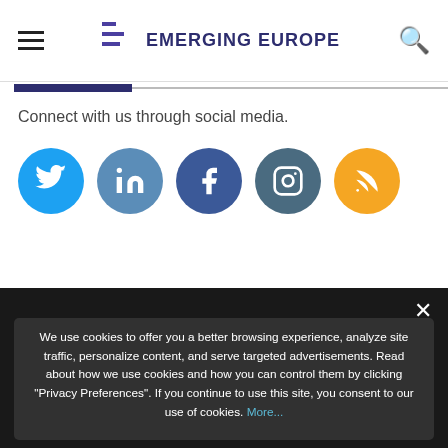Emerging Europe
Connect with us through social media.
[Figure (infographic): Five social media icons in colored circles: Twitter (blue), LinkedIn (steel blue), Facebook (dark blue), Instagram (dark teal), RSS (orange)]
We use cookies to offer you a better browsing experience, analyze site traffic, personalize content, and serve targeted advertisements. Read about how we use cookies and how you can control them by clicking "Privacy Preferences". If you continue to use this site, you consent to our use of cookies. More...